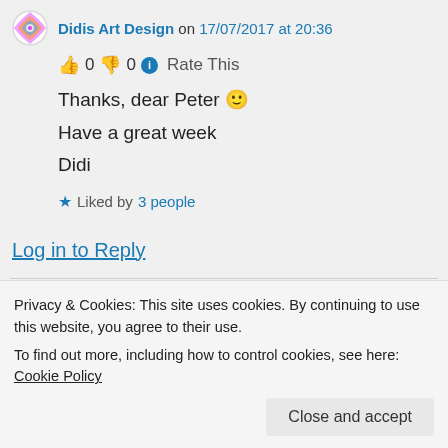Didis Art Design on 17/07/2017 at 20:36
👍 0 👎 0 ℹ Rate This
Thanks, dear Peter 🙂
Have a great week
Didi
★ Liked by 3 people
Log in to Reply
Peter Adewumi on 18/07/2017 at 13:55
Privacy & Cookies: This site uses cookies. By continuing to use this website, you agree to their use.
To find out more, including how to control cookies, see here: Cookie Policy
Close and accept